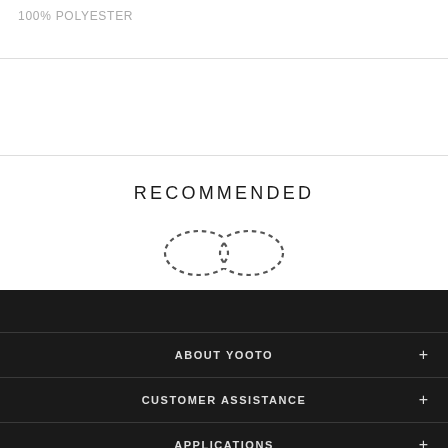100% POLYESTER
RECOMMENDED
[Figure (illustration): Dotted infinity symbol icon]
ABOUT YOOTO +
CUSTOMER ASSISTANCE +
APPLICATIONS +